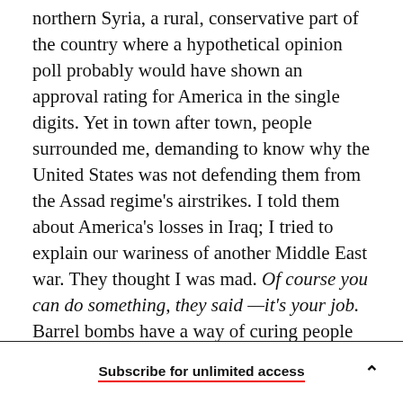northern Syria, a rural, conservative part of the country where a hypothetical opinion poll probably would have shown an approval rating for America in the single digits. Yet in town after town, people surrounded me, demanding to know why the United States was not defending them from the Assad regime's airstrikes. I told them about America's losses in Iraq; I tried to explain our wariness of another Middle East war. They thought I was mad. Of course you can do something, they said—it's your job. Barrel bombs have a way of curing people of their disdain for American exceptionalism.
Subscribe for unlimited access